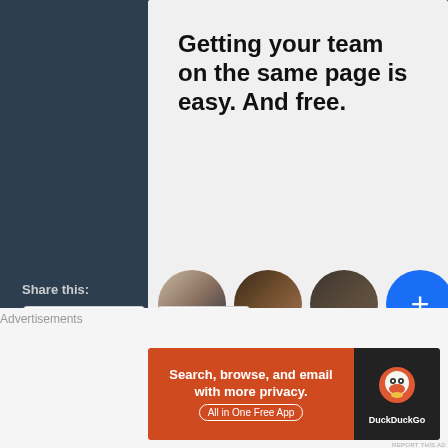[Figure (illustration): Advertisement banner with text 'Getting your team on the same page is easy. And free.' and four circular avatars (three person photos and one blue plus button)]
REPORT THIS AD
Share this:
[Figure (infographic): Facebook share button with Facebook logo icon]
[Figure (infographic): More share button with share icon]
[Figure (infographic): Like button with star icon and puzzle/grid icon next to it]
Advertisements
[Figure (screenshot): DuckDuckGo advertisement: 'Search, browse, and email with more privacy. All in One Free App' with DuckDuckGo logo on dark right panel]